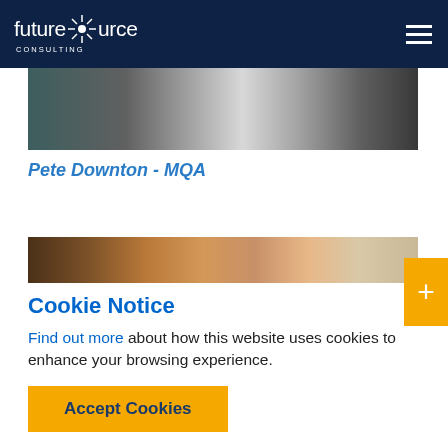futuresource CONSULTING
[Figure (photo): Dark metallic gradient image, cropped at top]
Pete Downton - MQA
[Figure (photo): Warm copper/bronze metallic gradient image]
Cookie Notice
Find out more about how this website uses cookies to enhance your browsing experience.
Accept Cookies